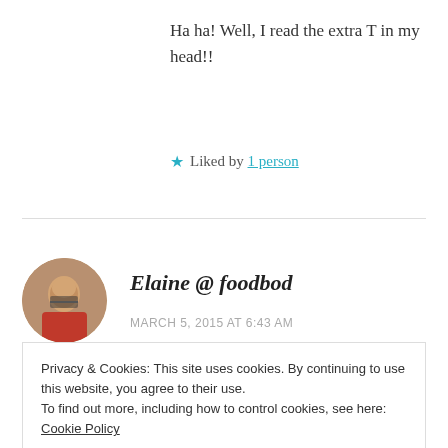Ha ha! Well, I read the extra T in my head!!
★ Liked by 1 person
Elaine @ foodbod
MARCH 5, 2015 AT 6:43 AM
But, suffice to say, I don't eat them,
Privacy & Cookies: This site uses cookies. By continuing to use this website, you agree to their use.
To find out more, including how to control cookies, see here: Cookie Policy
Close and accept
perfect x x x